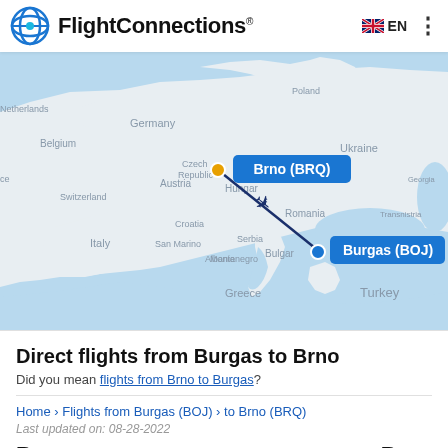FlightConnections® EN
[Figure (map): Map of Europe showing a flight route from Brno (BRQ) in Czech Republic to Burgas (BOJ) in Bulgaria, with a dark blue line and airplane icon between the two labeled city markers.]
Direct flights from Burgas to Brno
Did you mean flights from Brno to Burgas?
Home › Flights from Burgas (BOJ) › to Brno (BRQ)
Last updated on: 08-28-2022
Burgas    Brno